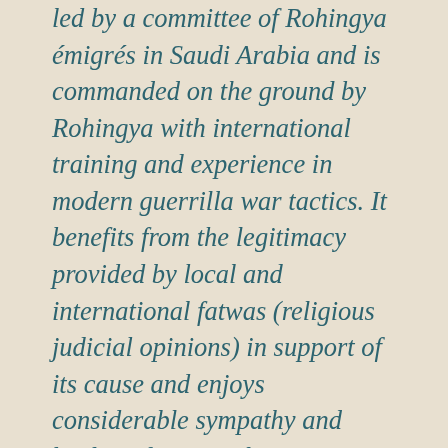led by a committee of Rohingya émigrés in Saudi Arabia and is commanded on the ground by Rohingya with international training and experience in modern guerrilla war tactics. It benefits from the legitimacy provided by local and international fatwas (religious judicial opinions) in support of its cause and enjoys considerable sympathy and backing from Muslims in northern Rakhine State, including several hundred locally trained recruits.
The emergence of this well-